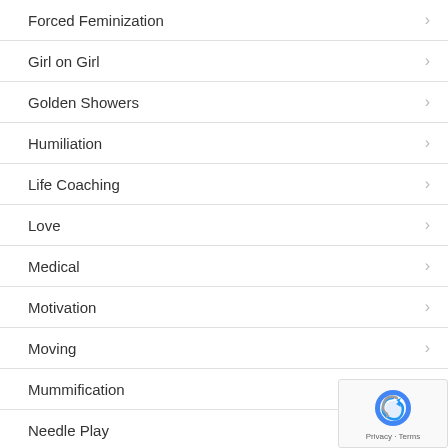Forced Feminization
Girl on Girl
Golden Showers
Humiliation
Life Coaching
Love
Medical
Motivation
Moving
Mummification
Needle Play
Online Domination
Pain Play